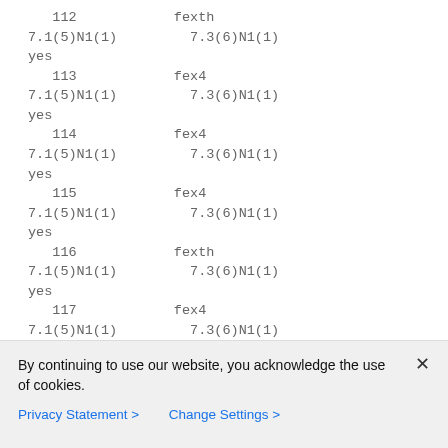112    fexth
7.1(5)N1(1)         7.3(6)N1(1)
yes
   113            fex4
7.1(5)N1(1)         7.3(6)N1(1)
yes
   114            fex4
7.1(5)N1(1)         7.3(6)N1(1)
yes
   115            fex4
7.1(5)N1(1)         7.3(6)N1(1)
yes
   116            fexth
7.1(5)N1(1)         7.3(6)N1(1)
yes
   117            fex4
7.1(5)N1(1)         7.3(6)N1(1)
By continuing to use our website, you acknowledge the use of cookies.
Privacy Statement >   Change Settings >